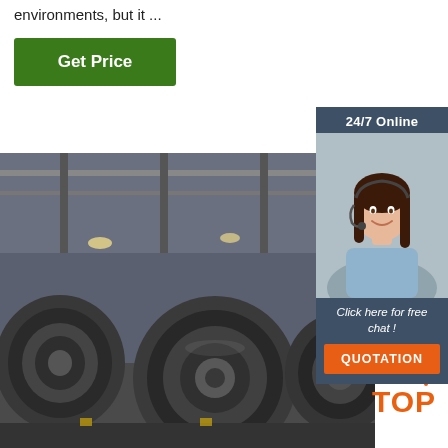environments, but it ...
[Figure (other): Green 'Get Price' button]
[Figure (other): 24/7 Online chat widget with customer service representative photo, 'Click here for free chat!' text, and orange QUOTATION button]
[Figure (photo): Industrial warehouse interior with large steel coils/rolls on the floor]
[Figure (other): Orange 'TOP' badge with dot pattern]